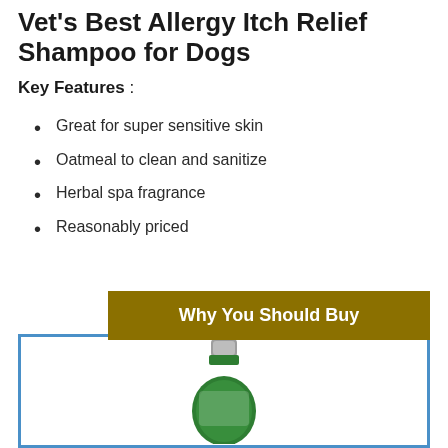Labradoodle With Allergies
Vet's Best Allergy Itch Relief Shampoo for Dogs
Key Features :
Great for super sensitive skin
Oatmeal to clean and sanitize
Herbal spa fragrance
Reasonably priced
Why You Should Buy
[Figure (photo): Green bottle of Vet's Best Allergy Itch Relief Shampoo]